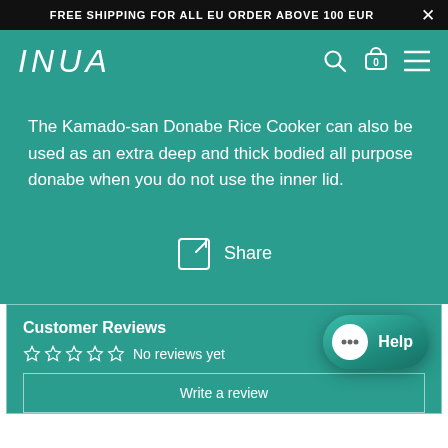FREE SHIPPING FOR ALL EU ORDER ABOVE 100 EUR
[Figure (logo): INUA brand logo in white italic text on teal background with search icon, cart icon showing 0 items, and hamburger menu icon]
The Kamado-san Donabe Rice Cooker can also be used as an extra deep and thick bodied all purpose donabe when you do not use the inner lid.
Share
Customer Reviews
No reviews yet
Write a review